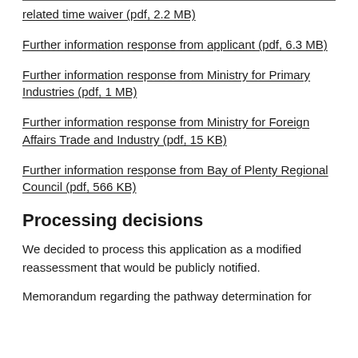related time waiver (pdf, 2.2 MB)
Further information response from applicant (pdf, 6.3 MB)
Further information response from Ministry for Primary Industries (pdf, 1 MB)
Further information response from Ministry for Foreign Affairs Trade and Industry (pdf, 15 KB)
Further information response from Bay of Plenty Regional Council (pdf, 566 KB)
Processing decisions
We decided to process this application as a modified reassessment that would be publicly notified.
Memorandum regarding the pathway determination for